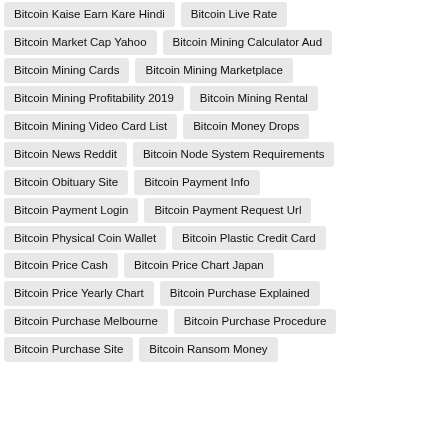Bitcoin Kaise Earn Kare Hindi
Bitcoin Live Rate
Bitcoin Market Cap Yahoo
Bitcoin Mining Calculator Aud
Bitcoin Mining Cards
Bitcoin Mining Marketplace
Bitcoin Mining Profitability 2019
Bitcoin Mining Rental
Bitcoin Mining Video Card List
Bitcoin Money Drops
Bitcoin News Reddit
Bitcoin Node System Requirements
Bitcoin Obituary Site
Bitcoin Payment Info
Bitcoin Payment Login
Bitcoin Payment Request Url
Bitcoin Physical Coin Wallet
Bitcoin Plastic Credit Card
Bitcoin Price Cash
Bitcoin Price Chart Japan
Bitcoin Price Yearly Chart
Bitcoin Purchase Explained
Bitcoin Purchase Melbourne
Bitcoin Purchase Procedure
Bitcoin Purchase Site
Bitcoin Ransom Money